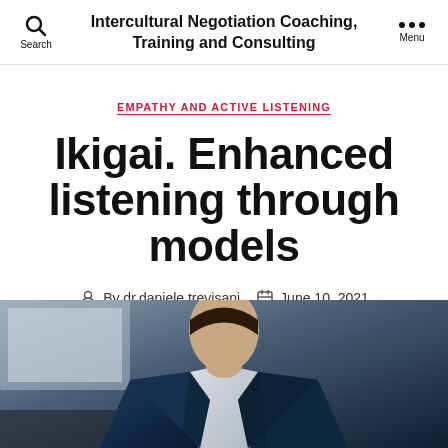Intercultural Negotiation Coaching, Training and Consulting
EMPATHY AND ACTIVE LISTENING
Ikigai. Enhanced listening through models
By dr.daniele.trevisani   June 10, 2021
[Figure (photo): A person in a dark navy blue suit jacket, photographed from chest level, with an office or indoor background visible. The image is partially shown at the bottom of the page.]